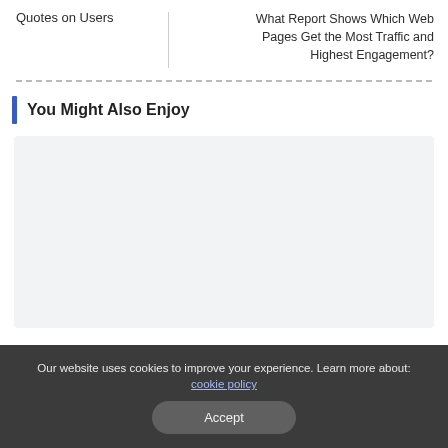Quotes on Users
What Report Shows Which Web Pages Get the Most Traffic and Highest Engagement?
You Might Also Enjoy
[Figure (other): Gray placeholder card area below 'You Might Also Enjoy' section]
Our website uses cookies to improve your experience. Learn more about: cookie policy
Accept